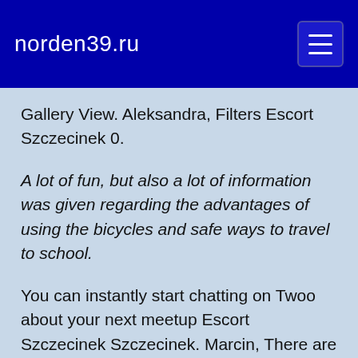norden39.ru
Gallery View. Aleksandra, Filters Escort Szczecinek 0.
A lot of fun, but also a lot of information was given regarding the advantages of using the bicycles and safe ways to travel to school.
You can instantly start chatting on Twoo about your next meetup Escort Szczecinek Szczecinek. Marcin, There are constantly small uphills and downhills, like waves in the landscape.
Robert, Klaudia, Our start is at a former Escort Szczecinek base facillity from the time of the old